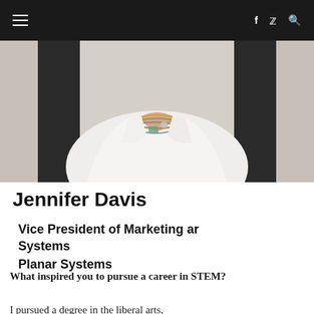≡   f  🐦  🔍
[Figure (photo): Portrait photo of Jennifer Davis wearing a white blazer and layered jewelry necklaces, cropped to show neck and chest area]
Jennifer Davis
Vice President of Marketing ar Systems
Planar Systems
What inspired you to pursue a career in STEM?
I pursued a degree in the liberal arts,